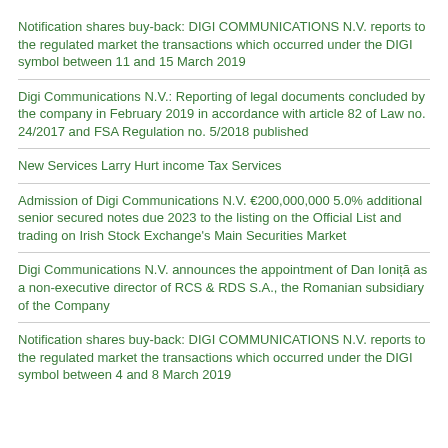Notification shares buy-back: DIGI COMMUNICATIONS N.V. reports to the regulated market the transactions which occurred under the DIGI symbol between 11 and 15 March 2019
Digi Communications N.V.: Reporting of legal documents concluded by the company in February 2019 in accordance with article 82 of Law no. 24/2017 and FSA Regulation no. 5/2018 published
New Services Larry Hurt income Tax Services
Admission of Digi Communications N.V. €200,000,000 5.0% additional senior secured notes due 2023 to the listing on the Official List and trading on Irish Stock Exchange's Main Securities Market
Digi Communications N.V. announces the appointment of Dan Ioniță as a non-executive director of RCS & RDS S.A., the Romanian subsidiary of the Company
Notification shares buy-back: DIGI COMMUNICATIONS N.V. reports to the regulated market the transactions which occurred under the DIGI symbol between 4 and 8 March 2019